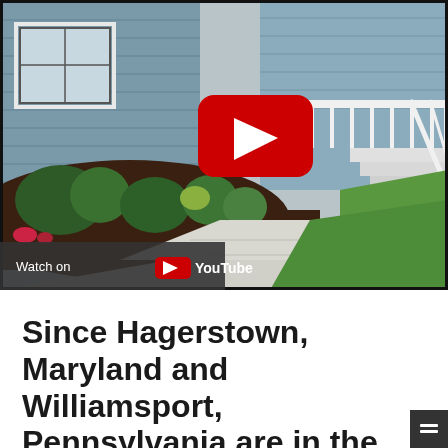[Figure (screenshot): YouTube video thumbnail showing a suburban house exterior with landscaping, sidewalk, and green lawn. A large red YouTube play button is centered. A dark bar at bottom left reads 'Watch on YouTube'.]
Since Hagerstown, Maryland and Williamsport, Pennsylvania are in the